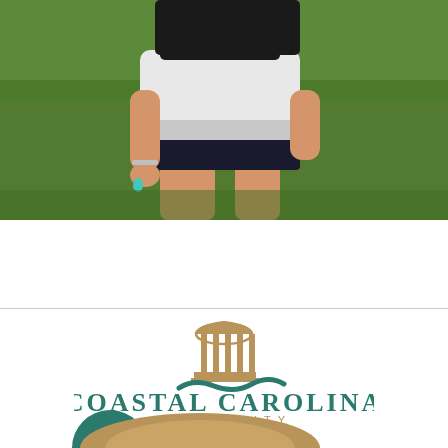[Figure (photo): A person wearing a white t-shirt and black shorts standing on green grass, showing turquoise painted nails and a bracelet on their wrist.]
[Figure (logo): Coastal Carolina University logo consisting of a building with columns icon in bronze/gold color with a teal wave beneath it, above the text COASTAL CAROLINA UNIVERSITY in teal and bronze spaced lettering.]